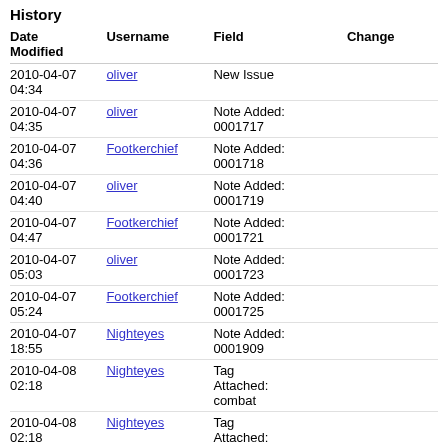History
| Date Modified | Username | Field | Change |
| --- | --- | --- | --- |
| 2010-04-07 04:34 | oliver | New Issue |  |
| 2010-04-07 04:35 | oliver | Note Added: 0001717 |  |
| 2010-04-07 04:36 | Footkerchief | Note Added: 0001718 |  |
| 2010-04-07 04:40 | oliver | Note Added: 0001719 |  |
| 2010-04-07 04:47 | Footkerchief | Note Added: 0001721 |  |
| 2010-04-07 05:03 | oliver | Note Added: 0001723 |  |
| 2010-04-07 05:24 | Footkerchief | Note Added: 0001725 |  |
| 2010-04-07 18:55 | Nighteyes | Note Added: 0001909 |  |
| 2010-04-08 02:18 | Nighteyes | Tag Attached: combat |  |
| 2010-04-08 02:18 | Nighteyes | Tag Attached: squad |  |
| 2010-04-09 05:19 | Rafal99 | Tag Attached: Squad menu |  |
| 2010-04-09 05:21 | Rafal99 | Note Added: 0002307 |  |